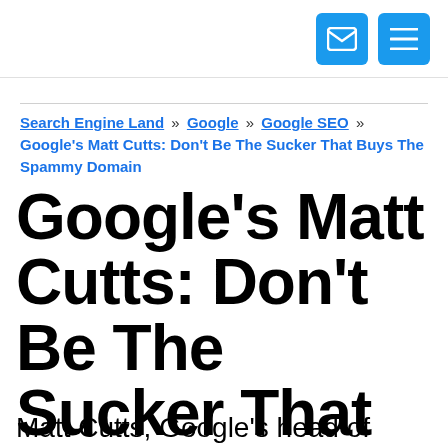[email icon] [menu icon]
Search Engine Land » Google » Google SEO » Google's Matt Cutts: Don't Be The Sucker That Buys The Spammy Domain
Google's Matt Cutts: Don't Be The Sucker That Buys The Spammy Domain
Matt Cutts, Google's head of search spam,